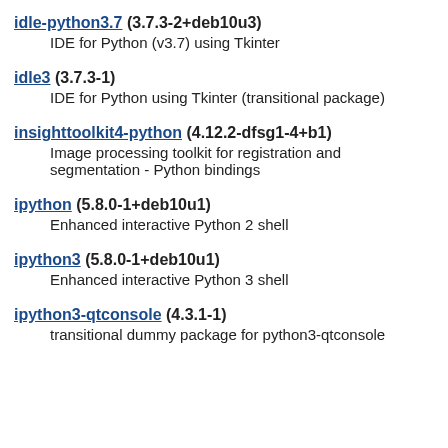idle-python3.7 (3.7.3-2+deb10u3)
    IDE for Python (v3.7) using Tkinter
idle3 (3.7.3-1)
    IDE for Python using Tkinter (transitional package)
insighttoolkit4-python (4.12.2-dfsg1-4+b1)
    Image processing toolkit for registration and segmentation - Python bindings
ipython (5.8.0-1+deb10u1)
    Enhanced interactive Python 2 shell
ipython3 (5.8.0-1+deb10u1)
    Enhanced interactive Python 3 shell
ipython3-qtconsole (4.3.1-1)
    transitional dummy package for python3-qtconsole